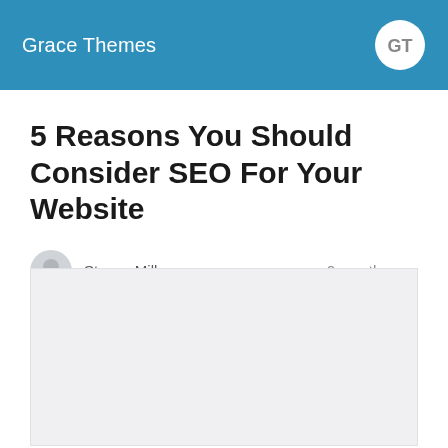Grace Themes
5 Reasons You Should Consider SEO For Your Website
Steven Miller   9 months ago
[Figure (other): Large light gray placeholder image area below the author row]